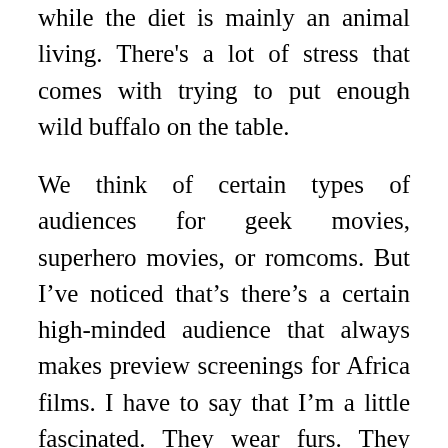while the diet is mainly an animal living. There's a lot of stress that comes with trying to put enough wild buffalo on the table.
We think of certain types of audiences for geek movies, superhero movies, or romcoms. But I've noticed that's there's a certain high-minded audience that always makes preview screenings for Africa films. I have to say that I'm a little fascinated. They wear furs. They drink wine in the theater. And not going to a movie since “Titanic” has dulled any previous compunction about speaking loudly in the theater. It’s not that I wanted the loudmouths next to me to be overpowered by smoke inhalation. But I probably wouldn’t feel much survivor’s guilt, either.“The Last Lions” does